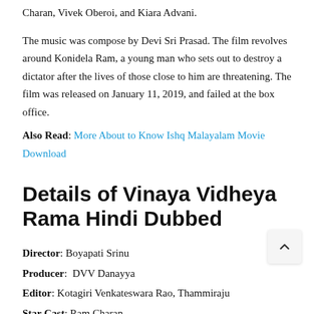Charan, Vivek Oberoi, and Kiara Advani.
The music was compose by Devi Sri Prasad. The film revolves around Konidela Ram, a young man who sets out to destroy a dictator after the lives of those close to him are threatening. The film was released on January 11, 2019, and failed at the box office.
Also Read: More About to Know Ishq Malayalam Movie Download
Details of Vinaya Vidheya Rama Hindi Dubbed
Director: Boyapati Srinu
Producer:  DVV Danayya
Editor: Kotagiri Venkateswara Rao, Thammiraju
Star Cast: Ram Charan